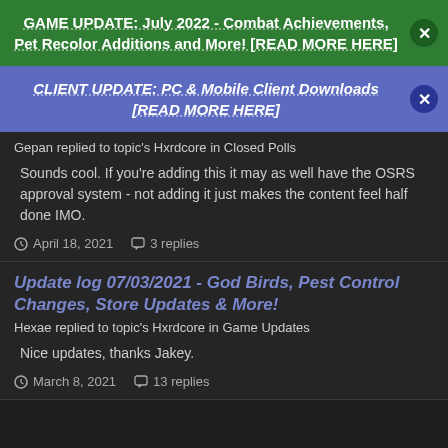GAME UPDATE: July 2022 - Combat Achievements, Pet Recolor Additions and More! [READ MORE HERE]
CLIENT UPDATE: PC & Mobile Client Downloads [READ MORE HERE]
Gepan replied to topic's Hxrdcore in Closed Polls
Sounds cool. If you're adding this it may as well have the OSRS approval system - not adding it just makes the content feel half done IMO.
April 18, 2021   3 replies
Update log 07/03/2021 - God Birds, Pest Control Changes, Store Updates & More!
Hexae replied to topic's Hxrdcore in Game Updates
Nice updates, thanks Jakey.
March 8, 2021   13 replies